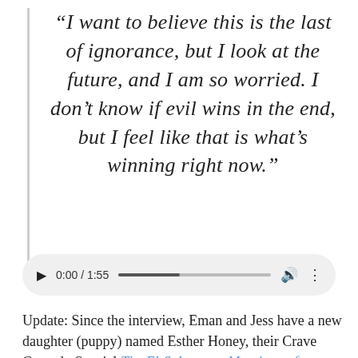“I want to believe this is the last of ignorance, but I look at the future, and I am so worried. I don’t know if evil wins in the end, but I feel like that is what’s winning right now.”
[Figure (other): Audio player widget showing time 0:00 / 1:55 with a progress bar, play button, volume icon, and more options icon]
Update: Since the interview, Eman and Jess have a new daughter (puppy) named Esther Honey, their Crave Comedy Special The El-Salomons: Marriage of Convenience launched and